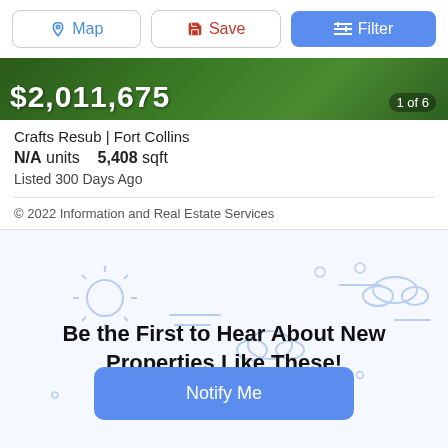[Figure (screenshot): Top toolbar with Map, Save, and Filter buttons]
[Figure (photo): Green outdoor background image showing price $2,011,675 and counter 1 of 6]
Crafts Resub | Fort Collins
N/A units   5,408 sqft
Listed 300 Days Ago
© 2022 Information and Real Estate Services
[Figure (illustration): Weather/sky illustration background with sun, clouds, and house icons]
Be the First to Hear About New Properties Like These!
[Figure (illustration): Blue Notify Me button]